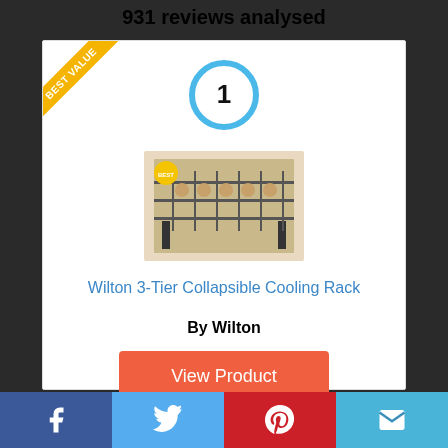931 reviews analysed
[Figure (infographic): Product ranking card showing #1 with a blue circle, a 'BEST VALUE' ribbon in gold, a product image of a Wilton 3-Tier Collapsible Cooling Rack, product name, brand, and View Product button]
Wilton 3-Tier Collapsible Cooling Rack
By Wilton
View Product
Facebook | Twitter | Pinterest | Email